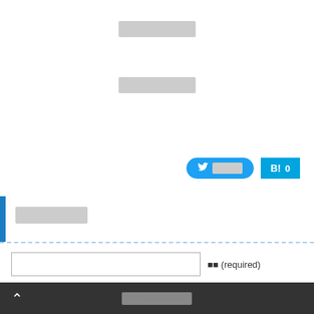■■■■■■■■■
■■■■■■■■■
[Figure (other): Twitter share button with bird icon and Japanese text, and Hatena Bookmark button showing count 0]
■■■■■■■■
■■ (required)
Mail (will not be published)
■■■■■■■■■■